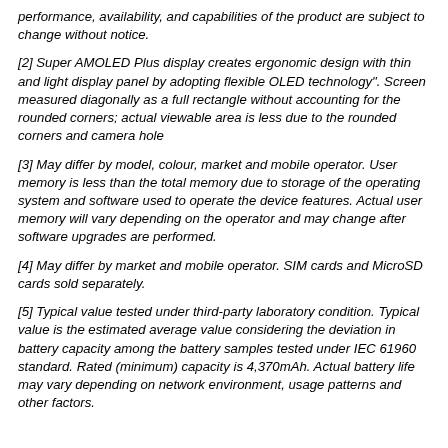performance, availability, and capabilities of the product are subject to change without notice.
[2] Super AMOLED Plus display creates ergonomic design with thin and light display panel by adopting flexible OLED technology". Screen measured diagonally as a full rectangle without accounting for the rounded corners; actual viewable area is less due to the rounded corners and camera hole
[3] May differ by model, colour, market and mobile operator. User memory is less than the total memory due to storage of the operating system and software used to operate the device features. Actual user memory will vary depending on the operator and may change after software upgrades are performed.
[4] May differ by market and mobile operator. SIM cards and MicroSD cards sold separately.
[5] Typical value tested under third-party laboratory condition. Typical value is the estimated average value considering the deviation in battery capacity among the battery samples tested under IEC 61960 standard. Rated (minimum) capacity is 4,370mAh. Actual battery life may vary depending on network environment, usage patterns and other factors.